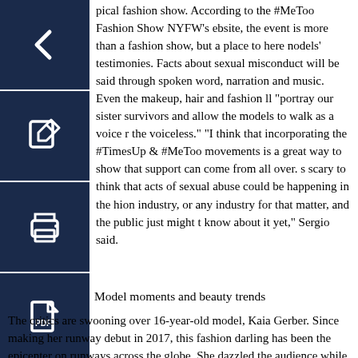[Figure (screenshot): Dark navy back button icon (left arrow) on dark square background]
[Figure (screenshot): Dark navy edit/pencil icon on dark square background]
[Figure (screenshot): Dark navy print icon on dark square background]
[Figure (screenshot): Dark navy PDF/document icon on dark square background]
pical fashion show. According to the #MeToo Fashion Show NYFW’s ebsite, the event is more than a fashion show, but a place to here nodels’ testimonies. Facts about sexual misconduct will be said through spoken word, narration and music. Even the makeup, hair and fashion ll “portray our sister survivors and allow the models to walk as a voice r the voiceless.” “I think that incorporating the #TimesUp & #MeToo movements is a great way to show that support can come from all over. s scary to think that acts of sexual abuse could be happening in the hion industry, or any industry for that matter, and the public just might t know about it yet,” Sergio said.
Model moments and beauty trends
The critics are swooning over 16-year-old model, Kaia Gerber. Since making her runway debut in 2017, this fashion darling has been the epicenter on runways across the globe. She dazzled the audience while walking in Tom Ford’s show on Feb. 9 for his ‘80s style Fall 2018 collection. She was dressed in a jet black mini dress, oversized black coat, sequined zebra leggings with fishnet stockings underneath, a zebra purse, shoulder length hoop earrings and a thick black leather headband to finish off the look. She definitely had heads turn as she strutted down the runway.